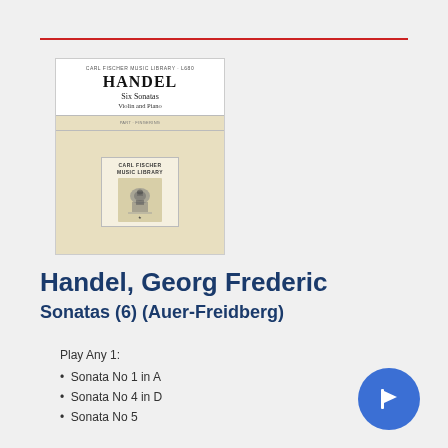[Figure (illustration): Book cover of Handel Six Sonatas for Violin and Piano, Carl Fischer Music Library edition. Cream/beige cover with white title panel at top showing HANDEL in large bold text, Six Sonatas subtitle, and Violin and Piano below. Lower portion shows Carl Fischer Music Library emblem with decorative crest.]
Handel, Georg Frederic
Sonatas (6) (Auer-Freidberg)
Play Any 1:
Sonata No 1 in A
Sonata No 4 in D
Sonata No 5